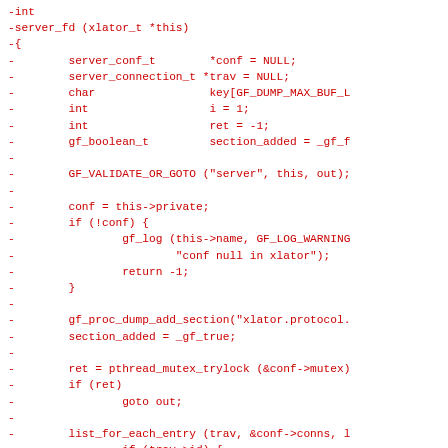-int
-server_fd (xlator_t *this)
-{
-        server_conf_t        *conf = NULL;
-        server_connection_t *trav = NULL;
-        char                 key[GF_DUMP_MAX_BUF_L
-        int                  i = 1;
-        int                  ret = -1;
-        gf_boolean_t         section_added = _gf_f
-
-        GF_VALIDATE_OR_GOTO ("server", this, out);
-
-        conf = this->private;
-        if (!conf) {
-                gf_log (this->name, GF_LOG_WARNING
-                        "conf null in xlator");
-                return -1;
-        }
-
-        gf_proc_dump_add_section("xlator.protocol.
-        section_added = _gf_true;
-
-        ret = pthread_mutex_trylock (&conf->mutex)
-        if (ret)
-                goto out;
-
-        list_for_each_entry (trav, &conf->conns, l
-                if (trav->id) {
-                        gf_proc_dump_build_key(key
-                                               "co